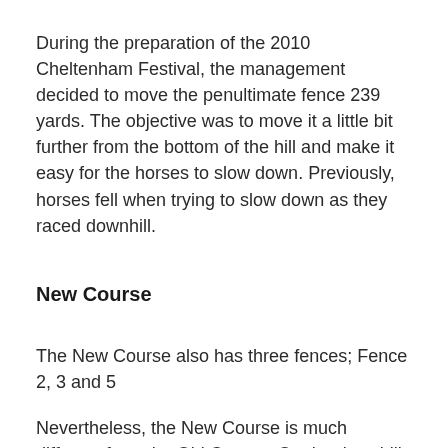During the preparation of the 2010 Cheltenham Festival, the management decided to move the penultimate fence 239 yards. The objective was to move it a little bit further from the bottom of the hill and make it easy for the horses to slow down. Previously, horses fell when trying to slow down as they raced downhill.
New Course
The New Course also has three fences; Fence 2, 3 and 5
Nevertheless, the New Course is much different from the Old Course. On the downhill run, there is only one fence. Due to